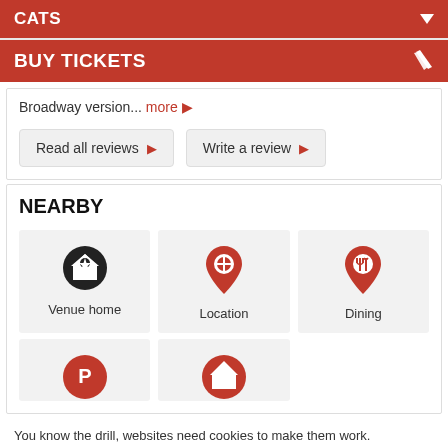CATS
BUY TICKETS
Broadway version... more ▶
Read all reviews ▶
Write a review ▶
NEARBY
[Figure (infographic): Three icon cards: Venue home (star icon), Location (red map pin), Dining (red map pin with fork/knife)]
[Figure (infographic): Two partial icon cards with red circular icons (P for Parking, house for Accommodation), partially visible at bottom]
You know the drill, websites need cookies to make them work. Details of how we do it here.
Got it!